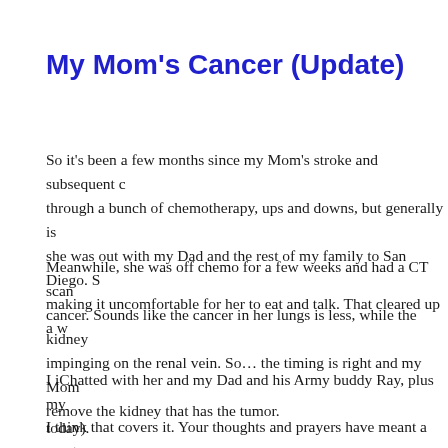My Mom's Cancer (Update)
So it's been a few months since my Mom's stroke and subsequent c... through a bunch of chemotherapy, ups and downs, but generally is she was out with my Dad and the rest of my family to San Diego. S making it uncomfortable for her to eat and talk. That cleared up a w
Meanwhile, she was off chemo for a few weeks and had a CT scan cancer. Sounds like the cancer in her lungs is less, while the kidne... impinging on the renal vein. So… the timing is right and my Mom remove the kidney that has the tumor.
I iChatted with her and my Dad and his Army buddy Ray, plus my today).
I think that covers it. Your thoughts and prayers have meant great